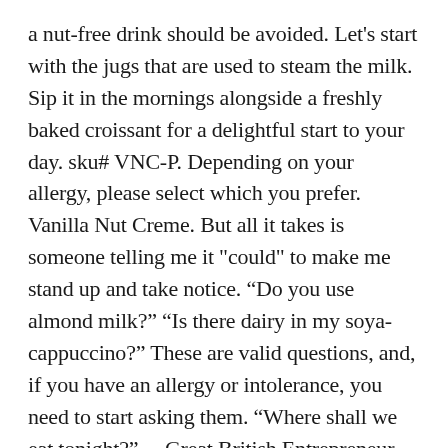a nut-free drink should be avoided. Let's start with the jugs that are used to steam the milk. Sip it in the mornings alongside a freshly baked croissant for a delightful start to your day. sku# VNC-P. Depending on your allergy, please select which you prefer. Vanilla Nut Creme. But all it takes is someone telling me it "could" to make me stand up and take notice. “Do you use almond milk?” “Is there dairy in my soya-cappuccino?” These are valid questions, and, if you have an allergy or intolerance, you need to start asking them. “Where shall we eat tonight?”..., Great British Entrepreneur Awards This removes most of the previous milk from the wand but relies heavily on the cleanliness